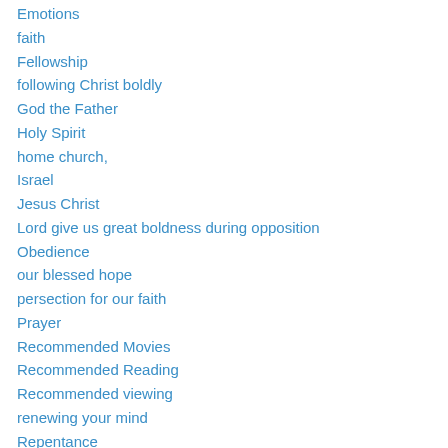Emotions
faith
Fellowship
following Christ boldly
God the Father
Holy Spirit
home church,
Israel
Jesus Christ
Lord give us great boldness during opposition
Obedience
our blessed hope
persection for our faith
Prayer
Recommended Movies
Recommended Reading
Recommended viewing
renewing your mind
Repentance
Salvation